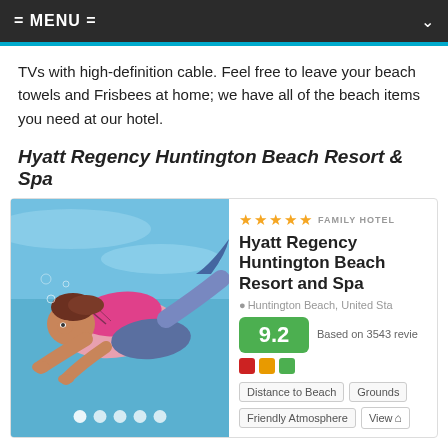= MENU =
TVs with high-definition cable. Feel free to leave your beach towels and Frisbees at home; we have all of the beach items you need at our hotel.
Hyatt Regency Huntington Beach Resort & Spa
[Figure (photo): Underwater photo of a girl swimming in a pool wearing a pink outfit]
★★★★★ FAMILY HOTEL
Hyatt Regency Huntington Beach Resort and Spa
Huntington Beach, United States
9.2 Based on 3543 reviews
Distance to Beach  Grounds
Friendly Atmosphere  View